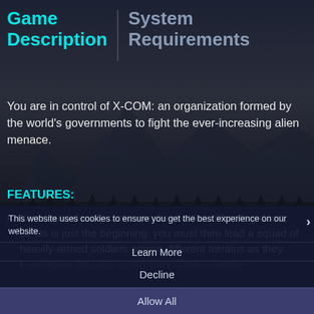Game Description | System Requirements
You are in control of X-COM: an organization formed by the world's governments to fight the ever-increasing alien menace.
FEATURES:
Command deadly close-combat battles. Shooting down UFOs is just the beginning: you must then lead a squad of heavily-armed soldiers across different terrains as they investigate the UFO crash sites. Tackle deadly enemies with automatic rifles, rocket launchers, and even alien technology, weapons or life forms.
Research and manufacture alien technologies
This website uses cookies to ensure you get the best experience on our website.
Learn More
Decline
Allow All